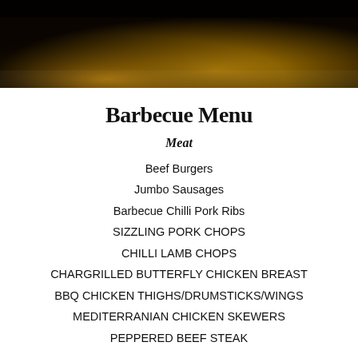[Figure (photo): Dark barbecue/grill photo header with glowing amber and brown tones]
Barbecue Menu
Meat
Beef Burgers
Jumbo Sausages
Barbecue Chilli Pork Ribs
SIZZLING PORK CHOPS
CHILLI LAMB CHOPS
CHARGRILLED BUTTERFLY CHICKEN BREAST
BBQ CHICKEN THIGHS/DRUMSTICKS/WINGS
MEDITERRANIAN CHICKEN SKEWERS
PEPPERED BEEF STEAK
Suya